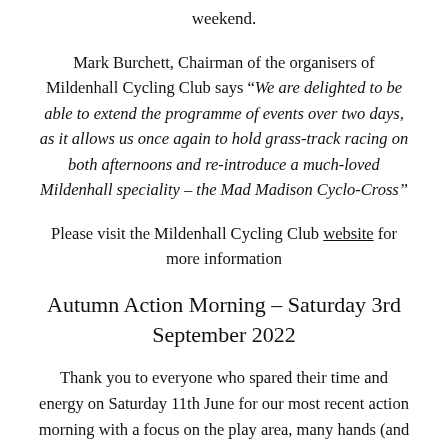weekend.
Mark Burchett, Chairman of the organisers of Mildenhall Cycling Club says “We are delighted to be able to extend the programme of events over two days, as it allows us once again to hold grass-track racing on both afternoons and re-introduce a much-loved Mildenhall speciality – the Mad Madison Cyclo-Cross”
Please visit the Mildenhall Cycling Club website for more information
Autumn Action Morning – Saturday 3rd September 2022
Thank you to everyone who spared their time and energy on Saturday 11th June for our most recent action morning with a focus on the play area, many hands (and early